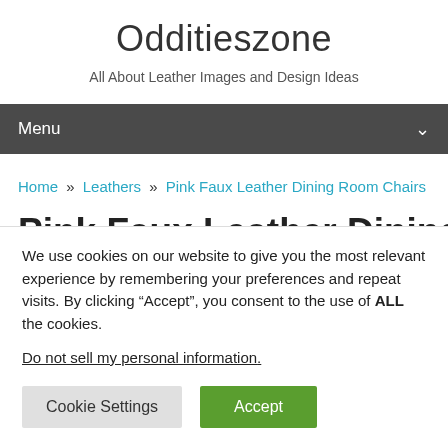Odditieszone
All About Leather Images and Design Ideas
Menu
Home » Leathers » Pink Faux Leather Dining Room Chairs
Pink Faux Leather Dining Room
We use cookies on our website to give you the most relevant experience by remembering your preferences and repeat visits. By clicking “Accept”, you consent to the use of ALL the cookies.
Do not sell my personal information.
Cookie Settings  Accept